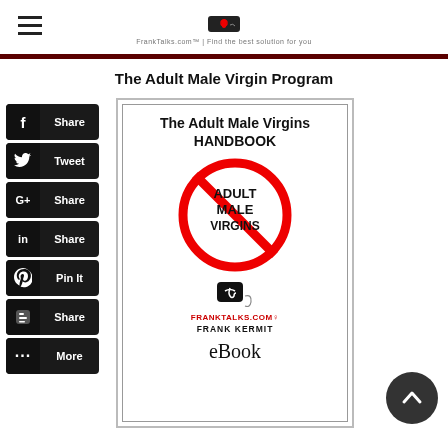FRANKTALKS.COM
The Adult Male Virgin Program
[Figure (illustration): Social media share buttons on left side: Facebook Share, Twitter Tweet, Google+ Share, LinkedIn Share, Pinterest Pin It, Blogger Share, More]
[Figure (illustration): Book cover for 'The Adult Male Virgins HANDBOOK' by Frank Kermit, with a red 'no' symbol over text 'ADULT MALE VIRGINS', FrankTalks.com logo, and 'eBook' label]
[Figure (illustration): Scroll-up arrow button (dark circle with up chevron)]